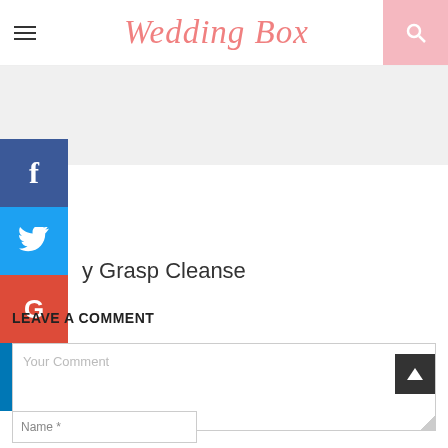Wedding Box
[Figure (other): Gray banner advertisement area]
[Figure (other): Social media sidebar with Facebook, Twitter, Google+, and LinkedIn buttons]
y Grasp Cleanse
LEAVE A COMMENT
Your Comment
Name *